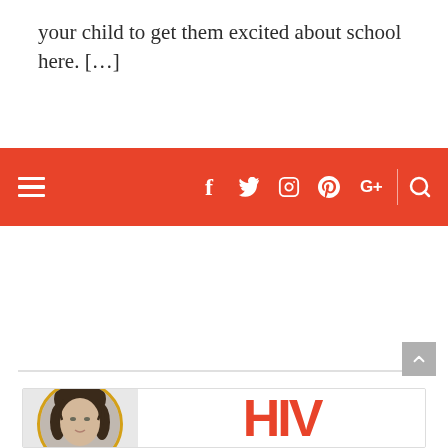your child to get them excited about school here. […]
[Figure (screenshot): Red navigation bar with hamburger menu icon on the left and social media icons (Facebook, Twitter, Instagram, Pinterest, Google+, Search) on the right against a coral/red background]
[Figure (photo): Article preview card showing a woman with curly dark hair in a circular gold-bordered portrait photo alongside large red bold letters 'HIV']